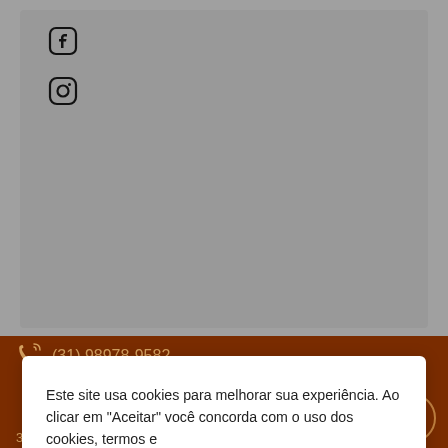[Figure (screenshot): Top gray section with Facebook and Instagram icons]
Este site usa cookies para melhorar sua experiência. Ao clicar em "Aceitar" você concorda com o uso dos cookies, termos e políticas do site. Saiba mais   Aceitar
[Figure (screenshot): Dark brown footer section with phone number (31) 98978-9582, WhatsApp button, address Araguari, 376 - Barro Preto Belo Horizonte, and zip code 30190-110]
(31) 98978-9582
Araguari, 376 - Barro Preto Belo Horizonte
30190-110